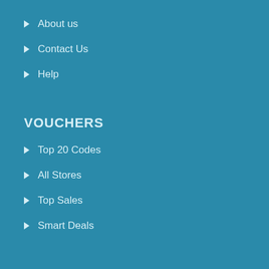About us
Contact Us
Help
VOUCHERS
Top 20 Codes
All Stores
Top Sales
Smart Deals
TRENDING STORES
Namshi
Agoda
Booking.com